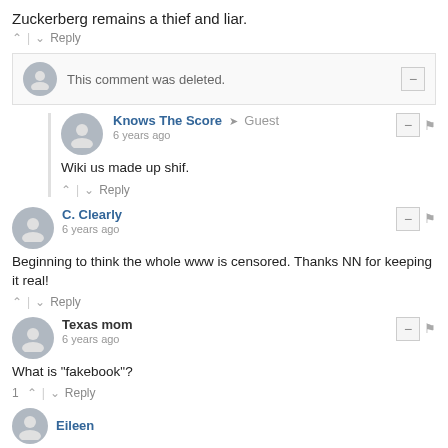Zuckerberg remains a thief and liar.
^ | v Reply
This comment was deleted.
Knows The Score → Guest
6 years ago
Wiki us made up shif.
^ | v Reply
C. Clearly
6 years ago
Beginning to think the whole www is censored. Thanks NN for keeping it real!
^ | v Reply
Texas mom
6 years ago
What is "fakebook"?
1 ^ | v Reply
Eileen